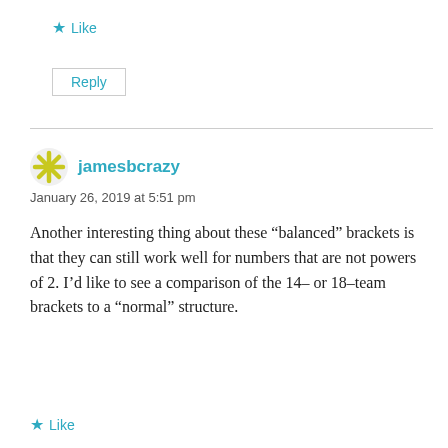★ Like
Reply
jamesbcrazy
January 26, 2019 at 5:51 pm
Another interesting thing about these “balanced” brackets is that they can still work well for numbers that are not powers of 2. I’d like to see a comparison of the 14- or 18-team brackets to a “normal” structure.
★ Like